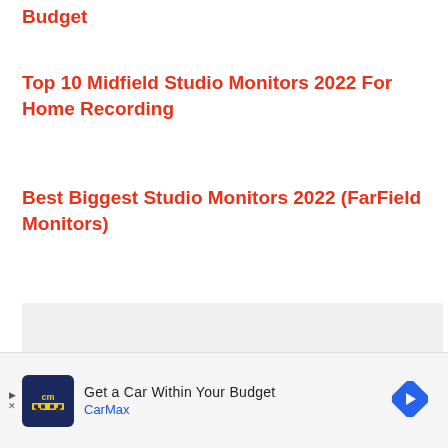Budget
Top 10 Midfield Studio Monitors 2022 For Home Recording
Best Biggest Studio Monitors 2022 (FarField Monitors)
[Figure (other): Grey placeholder advertisement block area]
[Figure (other): CarMax advertisement banner: 'Get a Car Within Your Budget' with CarMax logo, navigation arrow icon, and sound/audio icon]